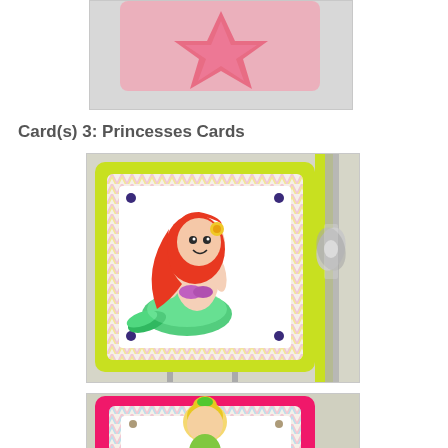[Figure (photo): Partial view of a pink paper craft / card at top of page, cropped]
Card(s) 3: Princesses Cards
[Figure (photo): Handmade princess card featuring a mermaid with red hair and glittery green tail on a chevron-patterned background with lime green border and silver/lime ribbon bow on right side]
[Figure (photo): Partial view of a handmade princess card with pink border, chevron pattern, and a blonde princess/fairy figure visible at bottom of page]